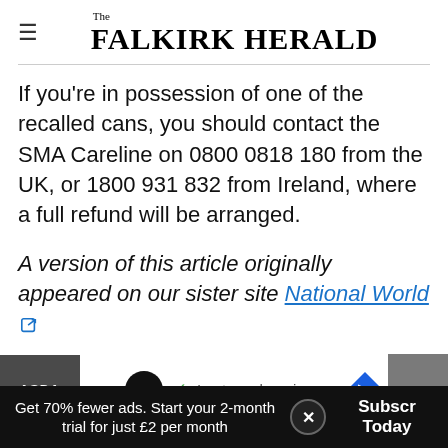The Falkirk Herald
If you're in possession of one of the recalled cans, you should contact the SMA Careline on 0800 0818 180 from the UK, or 1800 931 832 from Ireland, where a full refund will be arranged.
A version of this article originally appeared on our sister site National World
[Figure (screenshot): ASDA advertisement banner with infinity loop icon and 'In-store shopping' text]
Get 70% fewer ads. Start your 2-month trial for just £2 per month
Subscribe Today